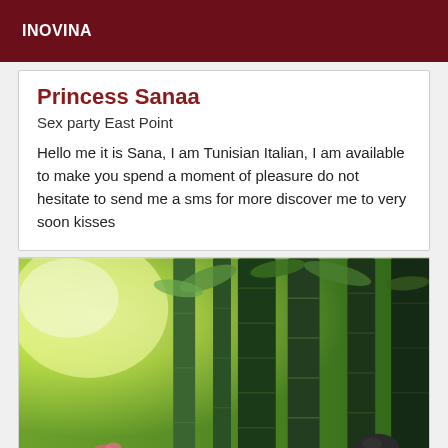INOVINA
Princess Sanaa
Sex party East Point
Hello me it is Sana, I am Tunisian Italian, I am available to make you spend a moment of pleasure do not hesitate to send me a sms for more discover me to very soon kisses
[Figure (photo): Photograph of bamboo stalks with green foliage in a bright outdoor setting, with a dark smooth stone visible at the bottom right]